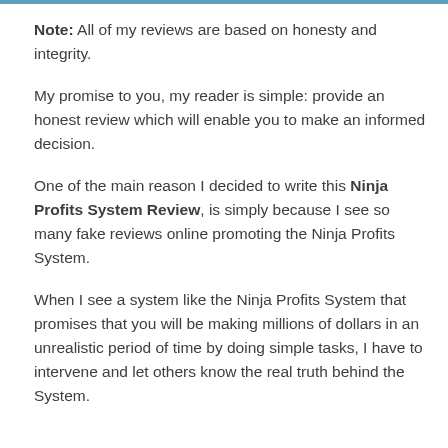Note: All of my reviews are based on honesty and integrity.
My promise to you, my reader is simple: provide an honest review which will enable you to make an informed decision.
One of the main reason I decided to write this Ninja Profits System Review, is simply because I see so many fake reviews online promoting the Ninja Profits System.
When I see a system like the Ninja Profits System that promises that you will be making millions of dollars in an unrealistic period of time by doing simple tasks, I have to intervene and let others know the real truth behind the System.